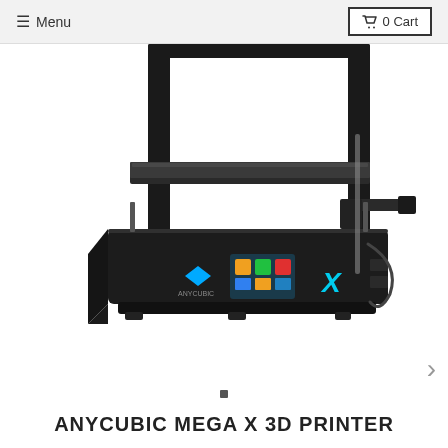☰ Menu   🛒 0 Cart
[Figure (photo): Anycubic Mega X 3D printer shown from a front-left angle. The printer is black with a large flat print bed, two vertical frame columns, and a control panel with a small touchscreen display and the Anycubic logo in blue. The letter X is visible in cyan on the front panel.]
ANYCUBIC MEGA X 3D PRINTER